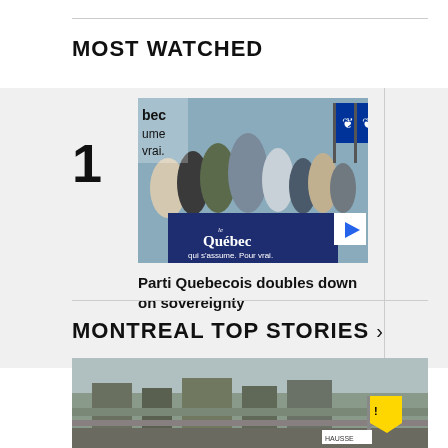MOST WATCHED
[Figure (photo): Video thumbnail showing a press conference for Parti Quebecois with people gathered around a podium with 'Le Québec qui s'assume. Pour vrai.' sign, Quebec flags in background. Play button visible.]
Parti Quebecois doubles down on sovereignty
[Figure (photo): Partially visible second video thumbnail (item #2), partially cropped on the right edge. Text partially visible: CTV N... Hara...]
MONTREAL TOP STORIES >
[Figure (photo): Bottom photo showing industrial/construction scene with yellow caution sign visible in lower right corner.]